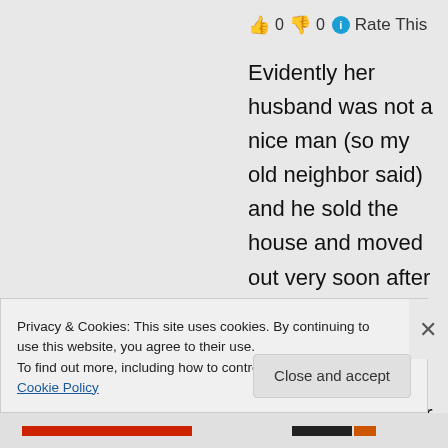👍 0 👎 0 ℹ Rate This
Evidently her husband was not a nice man (so my old neighbor said) and he sold the house and moved out very soon after the funeral. (I think she chased him out. This was her house, not his. Her brother built it for her. But since she chased out a cute young guy & my dad from her bedroom, I'm thinking she just
Privacy & Cookies: This site uses cookies. By continuing to use this website, you agree to their use.
To find out more, including how to control cookies, see here: Cookie Policy
Close and accept